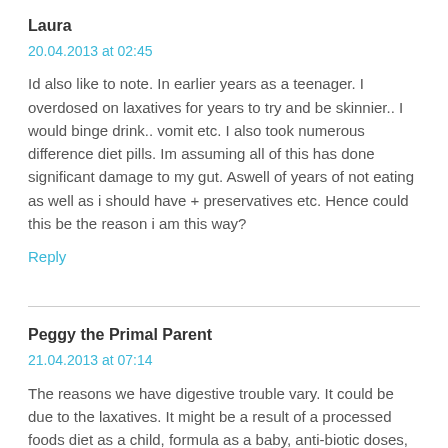Laura
20.04.2013 at 02:45
Id also like to note. In earlier years as a teenager. I overdosed on laxatives for years to try and be skinnier.. I would binge drink.. vomit etc. I also took numerous difference diet pills. Im assuming all of this has done significant damage to my gut. Aswell of years of not eating as well as i should have + preservatives etc. Hence could this be the reason i am this way?
Reply
Peggy the Primal Parent
21.04.2013 at 07:14
The reasons we have digestive trouble vary. It could be due to the laxatives. It might be a result of a processed foods diet as a child, formula as a baby, anti-biotic doses, drugs, alcohol, prescription meds, stress, mercury fillings, root canals. The ways we hurt our digestive systems is endless.
Reply